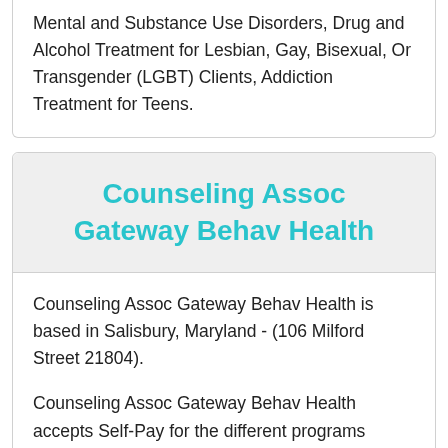Mental and Substance Use Disorders, Drug and Alcohol Treatment for Lesbian, Gay, Bisexual, Or Transgender (LGBT) Clients, Addiction Treatment for Teens.
Counseling Assoc Gateway Behav Health
Counseling Assoc Gateway Behav Health is based in Salisbury, Maryland - (106 Milford Street 21804).
Counseling Assoc Gateway Behav Health accepts Self-Pay for the different programs